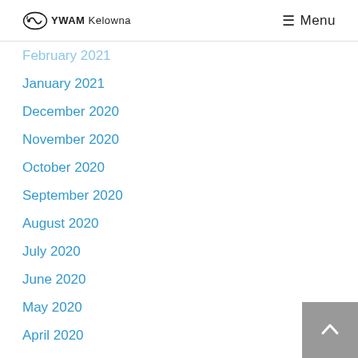YWAM Kelowna | Menu
February 2021
January 2021
December 2020
November 2020
October 2020
September 2020
August 2020
July 2020
June 2020
May 2020
April 2020
March 2020
February 2020
January 2020
December 2019
November 2019